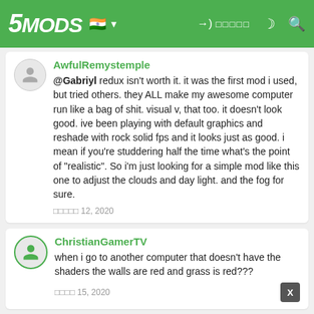5MODS
AwfulRemystemple
@Gabriyl redux isn't worth it. it was the first mod i used, but tried others. they ALL make my awesome computer run like a bag of shit. visual v, that too. it doesn't look good. ive been playing with default graphics and reshade with rock solid fps and it looks just as good. i mean if you're studdering half the time what's the point of "realistic". So i'm just looking for a simple mod like this one to adjust the clouds and day light. and the fog for sure.
More... 12, 2020
ChristianGamerTV
when i go to another computer that doesn't have the shaders the walls are red and grass is red???
More... 15, 2020
amandathegirl